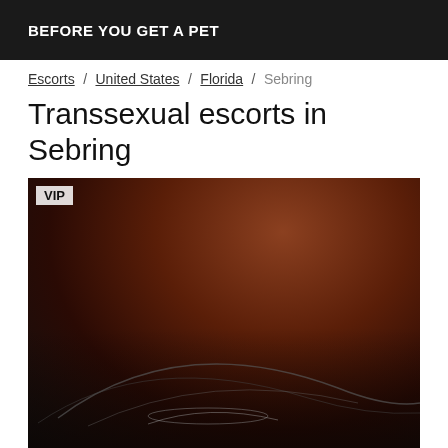BEFORE YOU GET A PET
Escorts / United States / Florida / Sebring
Transsexual escorts in Sebring
[Figure (photo): Close-up dark photo with a VIP tag overlay in the upper-left corner]